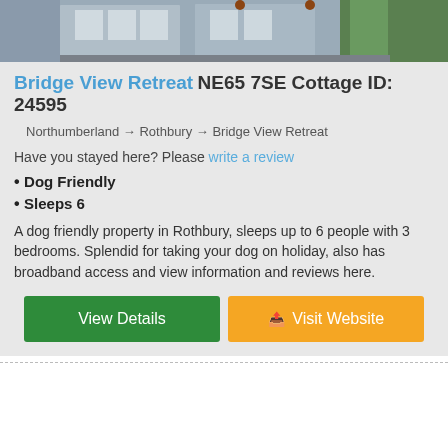[Figure (photo): Exterior photo of Bridge View Retreat cottage showing stone building with windows and hanging baskets]
Bridge View Retreat NE65 7SE Cottage ID: 24595
Northumberland → Rothbury → Bridge View Retreat
Have you stayed here? Please write a review
Dog Friendly
Sleeps 6
A dog friendly property in Rothbury, sleeps up to 6 people with 3 bedrooms. Splendid for taking your dog on holiday, also has broadband access and view information and reviews here.
View Details
Visit Website